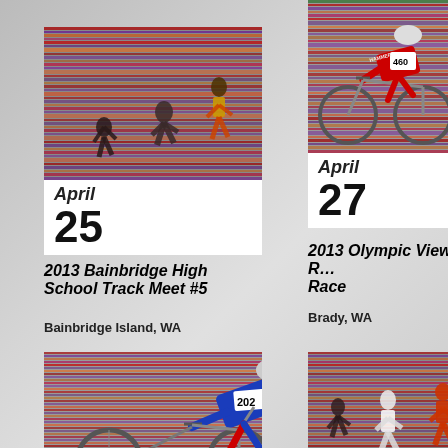[Figure (photo): Children running on a track, with colorful scanline artifacts overlaid. Date shows April 25.]
April
25
2013 Bainbridge High School Track Meet #5
Bainbridge Island, WA
[Figure (photo): Cyclist in red jersey numbered 460 on bicycle, with colorful scanline artifacts. Date shows April 27.]
April
27
2013 Olympic View Road Race
Brady, WA
[Figure (photo): Cyclist wearing number 202 in blue and red jersey on bicycle, with colorful scanline artifacts overlaid.]
[Figure (photo): Runners on a track with colorful scanline artifacts overlaid.]